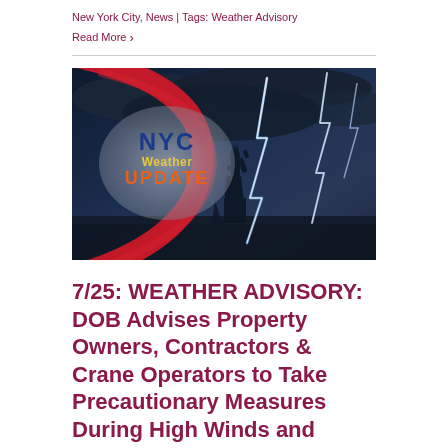New York City, News | Tags: Weather Advisory
Read More ›
[Figure (photo): NYC Weather Update graphic showing the Statue of Liberty in a stormy sky with lightning bolts and a red C-shaped swoosh logo with gray oval overlay displaying 'NYC Weather UPDATE' text]
7/25: WEATHER ADVISORY: DOB Advises Property Owners, Contractors & Crane Operators to Take Precautionary Measures During High Winds and Thunderstorms